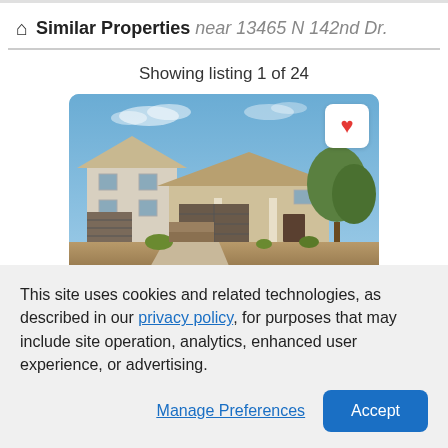Similar Properties near 13465 N 142nd Dr.
Showing listing 1 of 24
[Figure (photo): Exterior photo of a single-story desert home with attached garage, tan/beige stucco exterior, brown garage doors, landscaping with trees and shrubs, blue sky with clouds. Heart/favorite button in top right corner.]
This site uses cookies and related technologies, as described in our privacy policy, for purposes that may include site operation, analytics, enhanced user experience, or advertising.
Manage Preferences
Accept